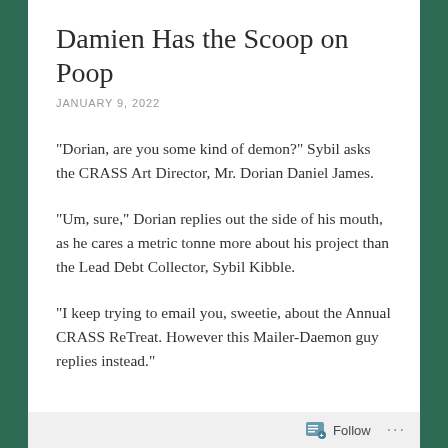Damien Has the Scoop on Poop
JANUARY 9, 2022
“Dorian, are you some kind of demon?” Sybil asks the CRASS Art Director, Mr. Dorian Daniel James.
“Um, sure,” Dorian replies out the side of his mouth, as he cares a metric tonne more about his project than the Lead Debt Collector, Sybil Kibble.
“I keep trying to email you, sweetie, about the Annual CRASS ReTreat. However this Mailer-Daemon guy replies instead.”
Follow